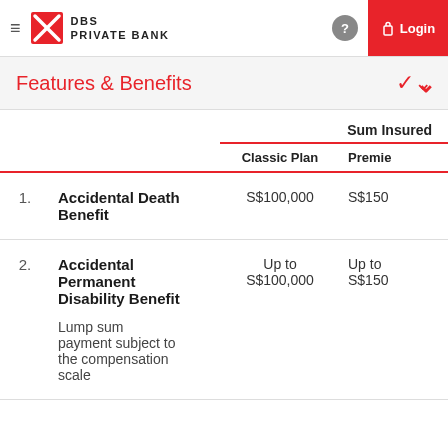DBS PRIVATE BANK | Login
Features & Benefits
|  |  | Classic Plan | Premie(r) |
| --- | --- | --- | --- |
| 1. | Accidental Death Benefit | S$100,000 | S$150 |
| 2. | Accidental Permanent Disability Benefit

Lump sum payment subject to the compensation scale | Up to S$100,000 | Up to S$150 |